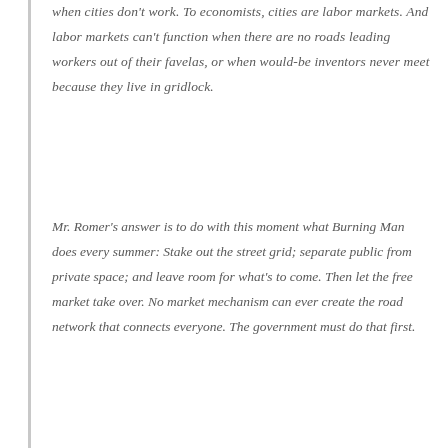when cities don't work. To economists, cities are labor markets. And labor markets can't function when there are no roads leading workers out of their favelas, or when would-be inventors never meet because they live in gridlock.
Mr. Romer's answer is to do with this moment what Burning Man does every summer: Stake out the street grid; separate public from private space; and leave room for what's to come. Then let the free market take over. No market mechanism can ever create the road network that connects everyone. The government must do that first.